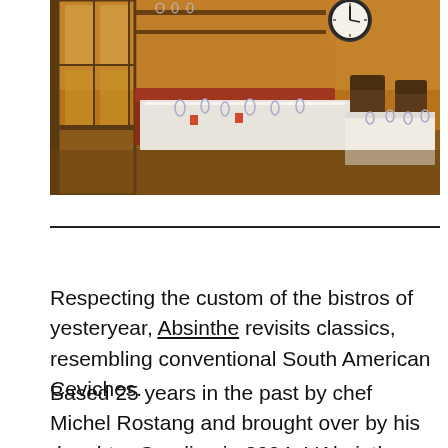[Figure (photo): Interior of a bistro restaurant with long white-cloth tables set with glasses and napkins, red/brown upholstered banquette seating, wooden chairs, brick walls, large clock visible in background]
Respecting the custom of the bistros of yesteryear, Absinthe revisits classics, resembling conventional South American Ceviches.
Based 25 years in the past by chef Michel Rostang and brought over by his daughter Caroline in 2004, L'Absinthe gives a revisited and beneficiant bistro delicacies, within the genuine